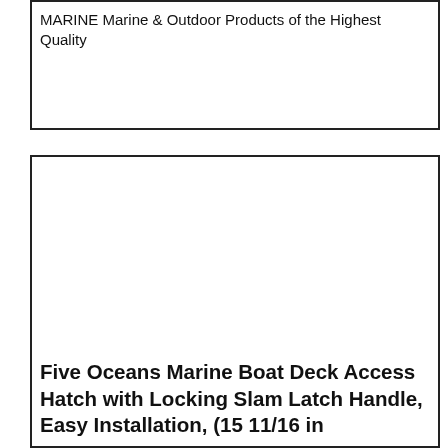MARINE Marine & Outdoor Products of the Highest Quality
[Figure (photo): Large blank/white product image area for a boat deck access hatch]
Five Oceans Marine Boat Deck Access Hatch with Locking Slam Latch Handle, Easy Installation, (15 11/16 in